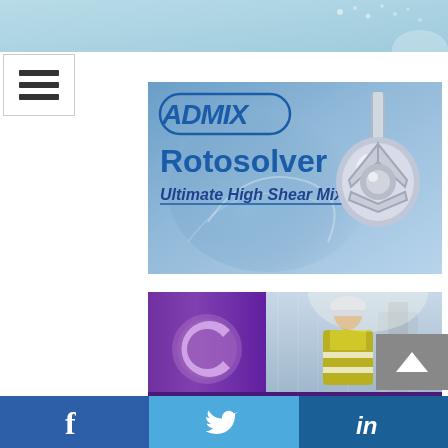[Figure (photo): Top partial banner with light teal/blue gradient background]
[Figure (illustration): Hamburger menu icon (three horizontal bars) in white box]
[Figure (photo): Admix Rotosolver Ultimate High Shear Mixer advertisement banner with blue gradient background and chrome mixer image]
[Figure (photo): Clearwater advertisement banner supporting the Food & Beverage industry with purple background and worker photo]
[Figure (photo): Bottom advertisement showing bread photo on left and ProStrategy / Microsoft Dynamics NAV / SI FOODWARE logos on right]
[Figure (other): Social media bottom navigation bar with Facebook, Twitter, and LinkedIn icons]
[Figure (other): Scroll-up button (grey chevron)]